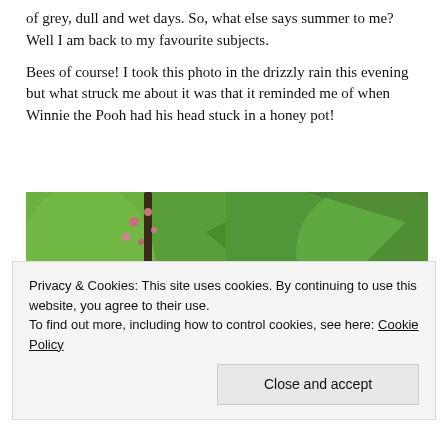of grey, dull and wet days. So, what else says summer to me? Well I am back to my favourite subjects.
Bees of course! I took this photo in the drizzly rain this evening but what struck me about it was that it reminded me of when Winnie the Pooh had his head stuck in a honey pot!
[Figure (photo): Close-up photograph of a bumblebee on a flower against a green background, with plant stems and pink flower buds visible.]
Privacy & Cookies: This site uses cookies. By continuing to use this website, you agree to their use.
To find out more, including how to control cookies, see here: Cookie Policy